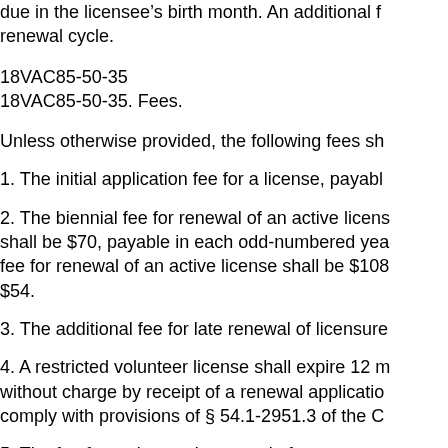due in the licensee's birth month. An additional f renewal cycle.
18VAC85-50-35
18VAC85-50-35. Fees.
Unless otherwise provided, the following fees sh
1. The initial application fee for a license, payabl
2. The biennial fee for renewal of an active licens shall be $70, payable in each odd-numbered yea fee for renewal of an active license shall be $108 $54.
3. The additional fee for late renewal of licensure
4. A restricted volunteer license shall expire 12 m without charge by receipt of a renewal applicatio comply with provisions of § 54.1-2951.3 of the C
5. The fee for review and approval of a new proto
6. The fee for reinstatement of a license pursuan $2,000.
7. The fee for a duplicate license shall be $5.00,
8. The fee for a returned check shall be $35.
9. The fee for a letter of good standing/verificatio be $10.
10. The fee for an application or for the biennial r due in the licensee's birth month. An additional f